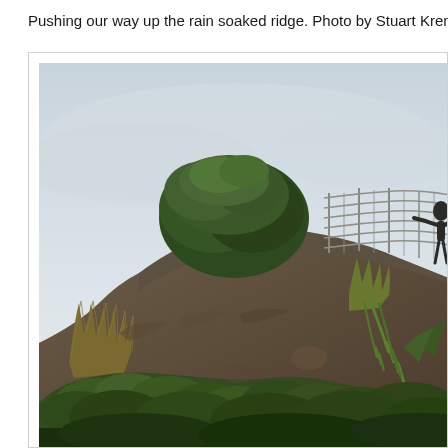Pushing our way up the rain soaked ridge. Photo by Stuart Krempin.
[Figure (photo): Photograph of a rain-soaked vegetated ridge showing dense green shrubs, mosses, grass tussocks, and leafy plants on rocky terrain. A wire fence/cage structure and a person with outstretched arms are visible at the top of the ridge against a pale overcast sky.]